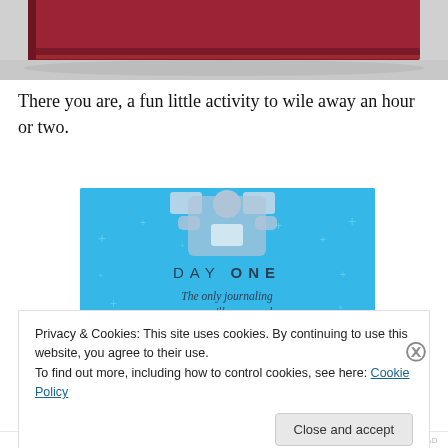[Figure (photo): Close-up photo of what appears to be a red/crimson book or notebook spine against a light background]
There you are, a fun little activity to wile away an hour or two.
[Figure (illustration): Day One app advertisement banner with light blue background, illustration of a person holding a phone with a t-shirt graphic, text reading 'DAY ONE' and 'The only journaling app you'll ever need.']
Privacy & Cookies: This site uses cookies. By continuing to use this website, you agree to their use.
To find out more, including how to control cookies, see here: Cookie Policy
Close and accept